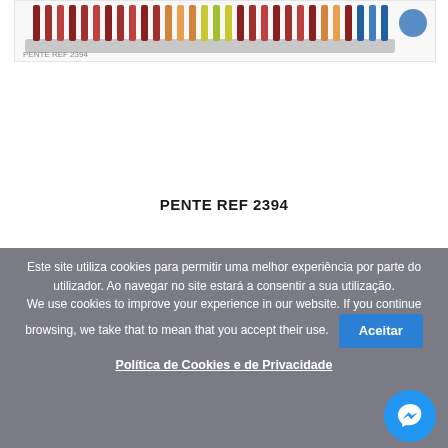[Figure (photo): Partial product image of a hair comb (PENTE REF 2394) showing colored teeth at top of image, partially cut off]
PENTE REF 2394
Este site utiliza cookies para permitir uma melhor experiência por parte do utilizador. Ao navegar no site estará a consentir a sua utilização.
We use cookies to improve your experience in our website. If you continue browsing, we take that to mean that you accept their use.
Aceitar
Política de Cookies e de Privacidade